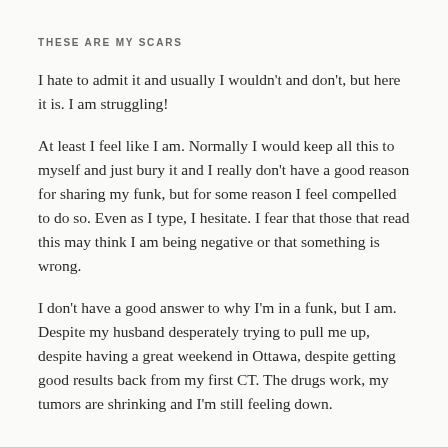THESE ARE MY SCARS
I hate to admit it and usually I wouldn't and don't, but here it is. I am struggling!
At least I feel like I am. Normally I would keep all this to myself and just bury it and I really don't have a good reason for sharing my funk, but for some reason I feel compelled to do so. Even as I type, I hesitate. I fear that those that read this may think I am being negative or that something is wrong.
I don't have a good answer to why I'm in a funk, but I am. Despite my husband desperately trying to pull me up, despite having a great weekend in Ottawa, despite getting good results back from my first CT. The drugs work, my tumors are shrinking and I'm still feeling down.